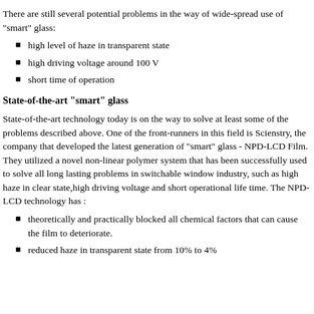There are still several potential problems in the way of wide-spread use of "smart" glass:
high level of haze in transparent state
high driving voltage around 100 V
short time of operation
State-of-the-art "smart" glass
State-of-the-art technology today is on the way to solve at least some of the problems described above. One of the front-runners in this field is Scienstry, the company that developed the latest generation of "smart" glass - NPD-LCD Film. They utilized a novel non-linear polymer system that has been successfully used to solve all long lasting problems in switchable window industry, such as high haze in clear state,high driving voltage and short operational life time. The NPD-LCD technology has :
theoretically and practically blocked all chemical factors that can cause the film to deteriorate.
reduced haze in transparent state from 10% to 4%